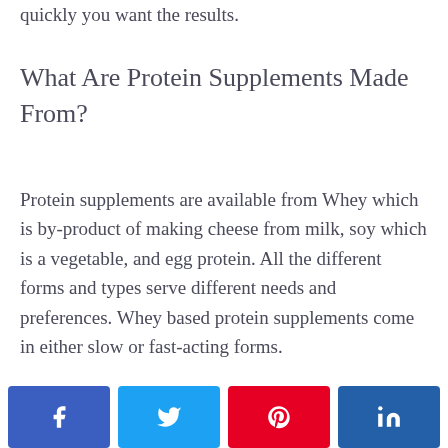quickly you want the results.
What Are Protein Supplements Made From?
Protein supplements are available from Whey which is by-product of making cheese from milk, soy which is a vegetable, and egg protein. All the different forms and types serve different needs and preferences. Whey based protein supplements come in either slow or fast-acting forms.
[Figure (other): Social media share buttons: Facebook, Twitter, Pinterest, LinkedIn]